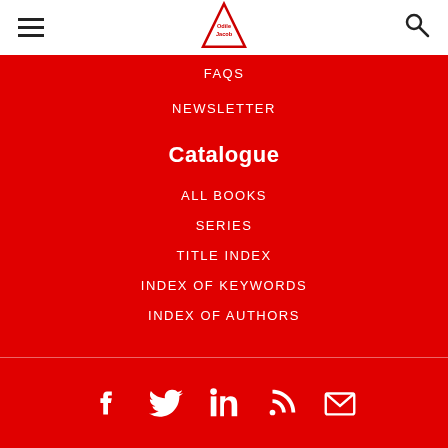[Figure (logo): Odile Jacob publisher logo — red triangle outline with 'Odile Jacob' text inside]
FAQS
NEWSLETTER
Catalogue
ALL BOOKS
SERIES
TITLE INDEX
INDEX OF KEYWORDS
INDEX OF AUTHORS
[Figure (infographic): Social media icons row: Facebook, Twitter, LinkedIn, RSS feed, Email/envelope — all white on red background]